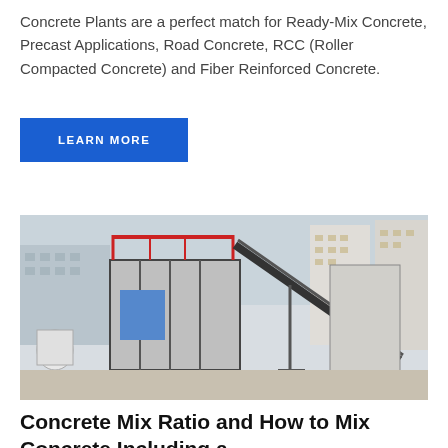Concrete Plants are a perfect match for Ready-Mix Concrete, Precast Applications, Road Concrete, RCC (Roller Compacted Concrete) and Fiber Reinforced Concrete.
LEARN MORE
[Figure (photo): Outdoor photo of a concrete batching plant facility showing large industrial structures, a conveyor belt system at an angle, modular building panels, and urban buildings visible in the background.]
Concrete Mix Ratio and How to Mix Concrete Including a